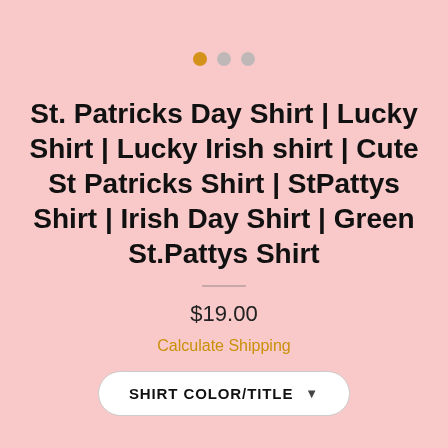[Figure (other): Three dots navigation indicator: one filled orange/gold dot and two grey dots in a row]
St. Patricks Day Shirt | Lucky Shirt | Lucky Irish shirt | Cute St Patricks Shirt | StPattys Shirt | Irish Day Shirt | Green St.Pattys Shirt
$19.00
Calculate Shipping
SHIRT COLOR/TITLE